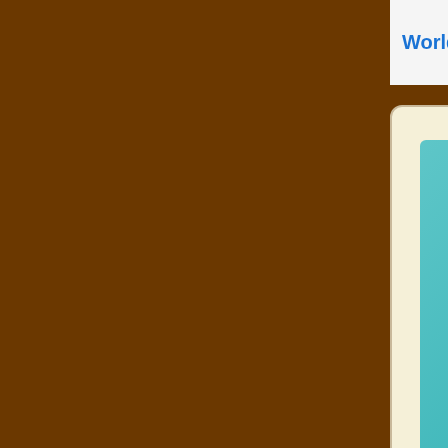World (1822)
Follow
[Figure (screenshot): Teal advertisement banner reading 'Emergency A... save lives.' with a Learn More button and Federation for Intern... logo at bottom]
In science it often happens that scientists say, 'You know that's a really bad argument; my position is mistaken,'
[Figure (photo): Profile photo of a man with gray hair against yellow-bordered background]
This website uses cookies to deliver its content, to show relevant ads, and to analyze its traffic. Learn More
Got It